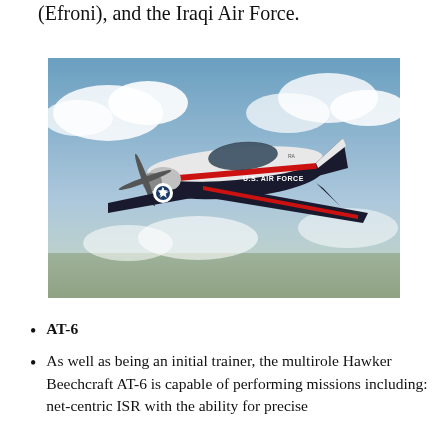(Efroni), and the Iraqi Air Force.
[Figure (photo): A U.S. Air Force T-6 Texan II aircraft in flight, white and dark blue livery with red stripe, U.S. AIR FORCE markings, flying above clouds and terrain.]
AT-6
As well as being an initial trainer, the multirole Hawker Beechcraft AT-6 is capable of performing missions including: net-centric ISR with the ability for precise